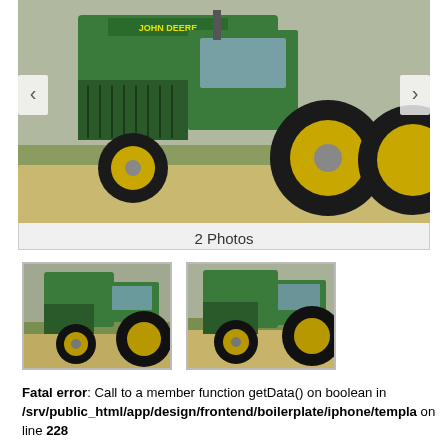[Figure (photo): Large John Deere 2940 tractor photo in a slideshow viewer with left and right navigation arrows. Tractor is green with large black tires and yellow rims, parked on grass/dirt.]
2 Photos
[Figure (photo): Thumbnail 1: Green John Deere tractor, front-left view, same tractor as main image.]
[Figure (photo): Thumbnail 2: Green John Deere tractor, slightly different angle, front-left view.]
Fatal error: Call to a member function getData() on boolean in /srv/public_html/app/design/frontend/boilerplate/iphone/templa on line 228